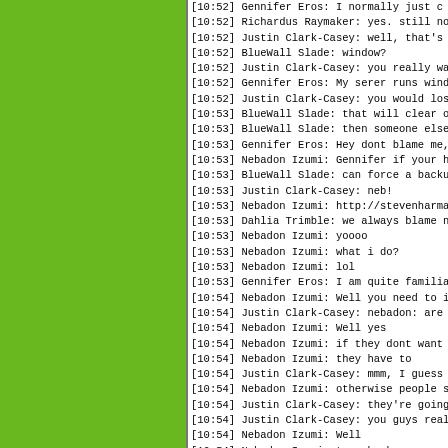[Figure (screenshot): Green panel on the left side of the page, approximately 186px wide]
[10:52] Gennifer Eros: I normally just c
[10:52] Richardus Raymaker: yes. still no
[10:52] Justin Clark-Casey: well, that's
[10:52] BlueWall Slade: window?
[10:52] Justin Clark-Casey: you really wa
[10:52] Gennifer Eros: My serer runs wind
[10:52] Justin Clark-Casey: you would los
[10:53] BlueWall Slade: that will clear o
[10:53] BlueWall Slade: then someone else
[10:53] Gennifer Eros: Hey dont blame me,
[10:53] Nebadon Izumi: Gennifer if your h
[10:53] BlueWall Slade: can force a backu
[10:53] Justin Clark-Casey: neb!
[10:53] Nebadon Izumi: http://stevenharma
[10:53] Dahlia Trimble: we always blame n
[10:53] Nebadon Izumi: yoooo
[10:53] Nebadon Izumi: what i do?
[10:53] Nebadon Izumi: lol
[10:53] Gennifer Eros: I am quite familia
[10:54] Nebadon Izumi: Well you need to i
[10:54] Justin Clark-Casey: nebadon: are
[10:54] Nebadon Izumi: Well yes
[10:54] Nebadon Izumi: if they dont want
[10:54] Nebadon Izumi: they have to
[10:54] Justin Clark-Casey: mmm, I guess
[10:54] Nebadon Izumi: otherwise people s
[10:54] Justin Clark-Casey: they're going
[10:54] Justin Clark-Casey: you guys real
[10:54] Nebadon Izumi: Well
[10:54] Nebadon Izumi: type backup
[10:54] Nebadon Izumi: on the console
[10:54] Gennifer Eros: I bitched when som
[10:54] Justin Clark-Casey: something tha
[10:55] Nebadon Izumi: honestly it depend
[10:55] BlueWall Slade: people used to st
[10:55] Nebadon Izumi: We never shut the
[10:55] Nebadon Izumi: and do not recall
[10:55] Justin Clark-Casey: it would only
[10:55] Nebadon Izumi: most of the time W
[10:55] Gennifer Eros: We